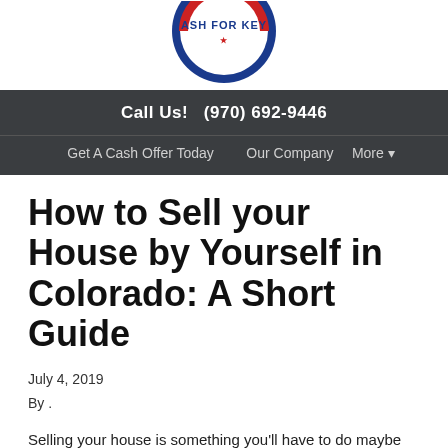[Figure (logo): Partial circular logo with text 'ASH FOR KEY' visible on a blue/red badge]
Call Us!  (970) 692-9446
Get A Cash Offer Today   Our Company   More ▾
How to Sell your House by Yourself in Colorado: A Short Guide
July 4, 2019
By .
Selling your house is something you'll have to do maybe just a few times in your life.  And unless you know a local Colorado real estate agent who will sell your house for